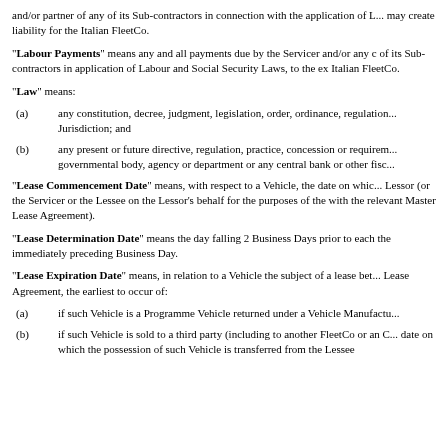and/or partner of any of its Sub-contractors in connection with the application of L... may create liability for the Italian FleetCo.
"Labour Payments" means any and all payments due by the Servicer and/or any of its Sub-contractors in application of Labour and Social Security Laws, to the ex... Italian FleetCo.
"Law" means:
(a) any constitution, decree, judgment, legislation, order, ordinance, regulation... Jurisdiction; and
(b) any present or future directive, regulation, practice, concession or requirem... governmental body, agency or department or any central bank or other fisc...
"Lease Commencement Date" means, with respect to a Vehicle, the date on whic... Lessor (or the Servicer or the Lessee on the Lessor's behalf for the purposes of the... with the relevant Master Lease Agreement).
"Lease Determination Date" means the day falling 2 Business Days prior to each... the immediately preceding Business Day.
"Lease Expiration Date" means, in relation to a Vehicle the subject of a lease bet... Lease Agreement, the earliest to occur of:
(a) if such Vehicle is a Programme Vehicle returned under a Vehicle Manufactu...
(b) if such Vehicle is sold to a third party (including to another FleetCo or an C... date on which the possession of such Vehicle is transferred from the Lessee...